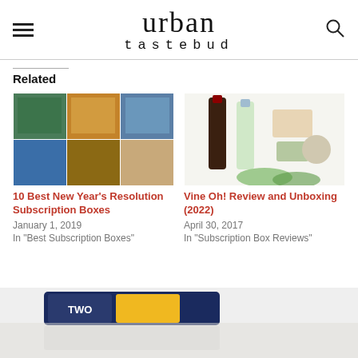urban tastebud
Related
[Figure (photo): Collage of subscription boxes including gift items, snacks, and lifestyle products]
10 Best New Year's Resolution Subscription Boxes
January 1, 2019
In "Best Subscription Boxes"
[Figure (photo): Wine bottles and beauty/lifestyle subscription box items on white background]
Vine Oh! Review and Unboxing (2022)
April 30, 2017
In "Subscription Box Reviews"
[Figure (photo): Product bar or snack item with blue packaging at bottom of page, partially visible]